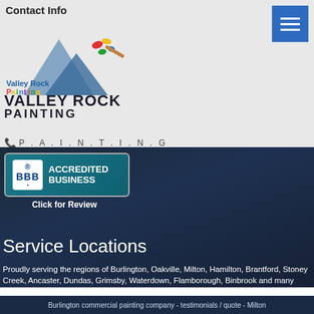Contact Info
[Figure (logo): Valley Rock Painting logo with mountain and paint splash graphic]
[Figure (screenshot): BBB Accredited Business badge]
Click for Review
Service Locations
Proudly serving the regions of Burlington, Oakville, Milton, Hamilton, Brantford, Stoney Creek, Ancaster, Dundas, Grimsby, Waterdown, Flamborough, Binbrook and many more, our Burlington commercial painting contractors will offer you the most personalized and client-centred services you will find in your area!
Burlington commercial painting company - testimonials / quote - Milton